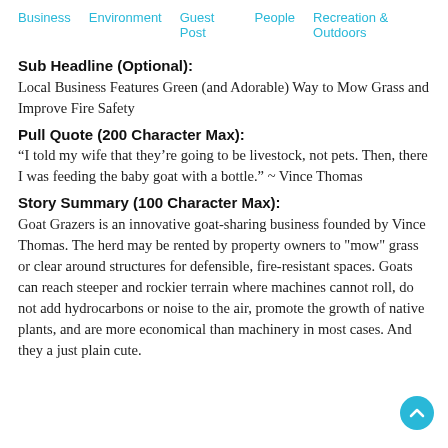Business   Environment   Guest Post   People   Recreation & Outdoors
Sub Headline (Optional):
Local Business Features Green (and Adorable) Way to Mow Grass and Improve Fire Safety
Pull Quote (200 Character Max):
“I told my wife that they’re going to be livestock, not pets. Then, there I was feeding the baby goat with a bottle.” ~ Vince Thomas
Story Summary (100 Character Max):
Goat Grazers is an innovative goat-sharing business founded by Vince Thomas. The herd may be rented by property owners to "mow" grass or clear around structures for defensible, fire-resistant spaces. Goats can reach steeper and rockier terrain where machines cannot roll, do not add hydrocarbons or noise to the air, promote the growth of native plants, and are more economical than machinery in most cases. And they a just plain cute.